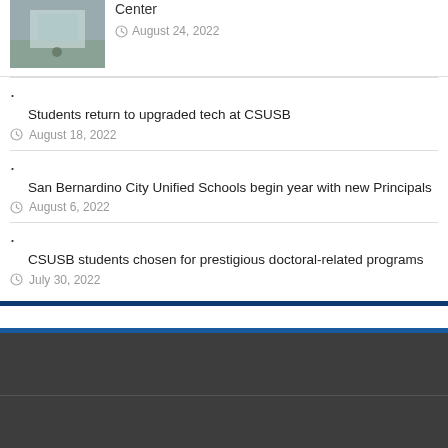[Figure (photo): Building exterior photo thumbnail]
Center
August 24, 2022
Students return to upgraded tech at CSUSB
August 18, 2022
San Bernardino City Unified Schools begin year with new Principals
August 6, 2022
CSUSB students chosen for prestigious doctoral-related programs
July 30, 2022